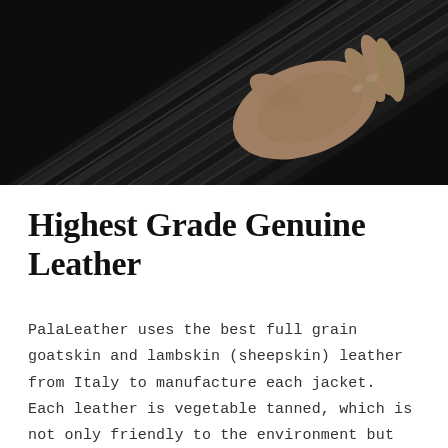[Figure (photo): A hand pressing down on stacked dark black leather strips or rolls, viewed from above. The leather pieces are arranged diagonally, showing texture and sheen.]
Highest Grade Genuine Leather
PalaLeather uses the best full grain goatskin and lambskin (sheepskin) leather from Italy to manufacture each jacket. Each leather is vegetable tanned, which is not only friendly to the environment but also preserves the original state of the leather to the maximum extent.